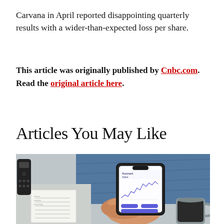Carvana in April reported disappointing quarterly results with a wider-than-expected loss per share.
This article was originally published by Cnbc.com. Read the original article here.
Articles You May Like
[Figure (photo): Person holding a smartphone displaying a financial app showing account value with a line chart, sitting with jeans, a notebook, remote control, and a coffee mug nearby on a textured surface.]